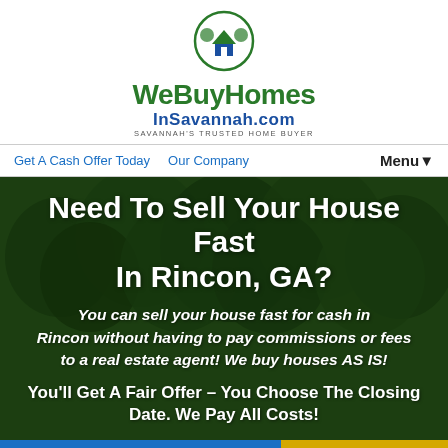[Figure (logo): WeBuyHomesInSavannah.com logo with green circle icon and house symbol. Text reads WeBuyHomes in green, InSavannah.com in blue, tagline SAVANNAH'S TRUSTED HOME BUYER]
Get A Cash Offer Today   Our Company   Menu▾
Need To Sell Your House Fast In Rincon, GA?
You can sell your house fast for cash in Rincon without having to pay commissions or fees to a real estate agent! We buy houses AS IS!
You'll Get A Fair Offer – You Choose The Closing Date. We Pay All Costs!
Fill out the short…   Call Us! 912-454-4818